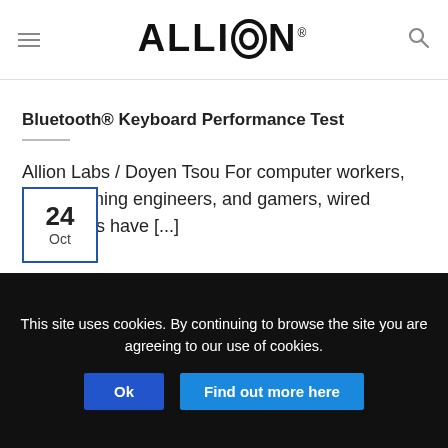ALLION
Bluetooth® Keyboard Performance Test
Allion Labs / Doyen Tsou For computer workers, programming engineers, and gamers, wired keyboards have [...]
24 Oct
This site uses cookies. By continuing to browse the site you are agreeing to our use of cookies. Ok Find out more here